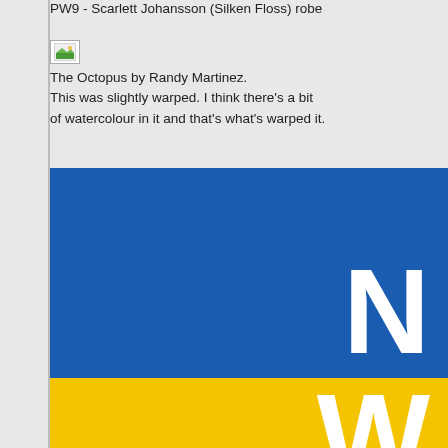PW9 - Scarlett Johansson (Silken Floss) robe
[Figure (photo): Broken image placeholder icon (small image with green/landscape icon)]
The Octopus by Randy Martinez.
This was slightly warped. I think there's a bit of watercolour in it and that's what's warped it.
[Figure (photo): Large image with blue upper section and yellow lower section, with partial white letter 'N' visible on the right side of the blue section and partial white letter visible at bottom of yellow section]